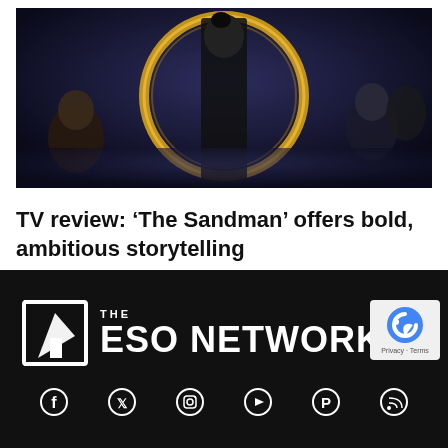[Figure (photo): Promotional poster for The Sandman TV show featuring a central dark-cloaked figure with a raven, surrounded by other characters, with a glowing golden circular symbol behind them on a dark mystical background]
TV review: ‘The Sandman’ offers bold, ambitious storytelling
[Figure (logo): The ESO Network logo — white rocket/arrow icon in a square bracket frame, with 'THE' above and 'ESO NETWORK' in large bold white text on black background, with social media icons at bottom and a reCAPTCHA badge]